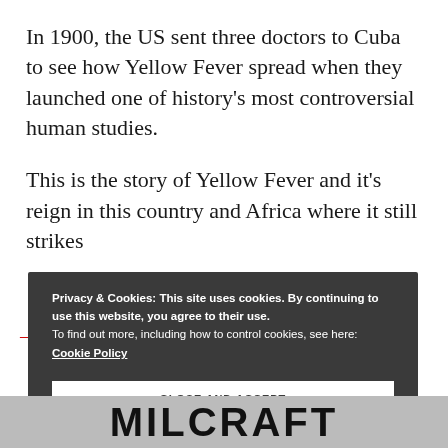In 1900, the US sent three doctors to Cuba to see how Yellow Fever spread when they launched one of history's most controversial human studies.
This is the story of Yellow Fever and it's reign in this country and Africa where it still strikes
Privacy & Cookies: This site uses cookies. By continuing to use this website, you agree to their use.
To find out more, including how to control cookies, see here:
Cookie Policy
CLOSE AND ACCEPT
[Figure (screenshot): Partially visible image at bottom with large bold letters visible, resembling a logo or title graphic with dark text on a grey background]